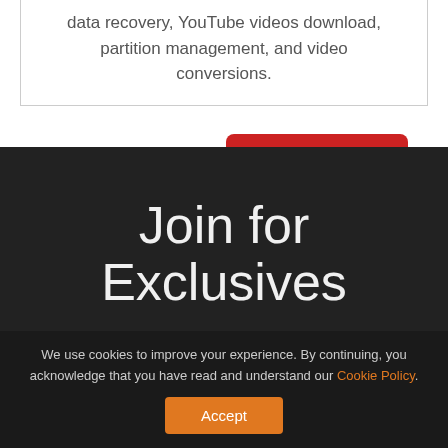data recovery, YouTube videos download, partition management, and video conversions.
User Comments :
0 Comments
Join for Exclusives
We use cookies to improve your experience. By continuing, you acknowledge that you have read and understand our Cookie Policy.
Accept